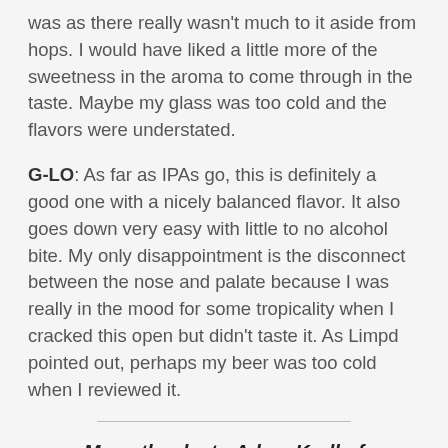was as there really wasn't much to it aside from hops. I would have liked a little more of the sweetness in the aroma to come through in the taste. Maybe my glass was too cold and the flavors were understated.
G-LO: As far as IPAs go, this is definitely a good one with a nicely balanced flavor. It also goes down very easy with little to no alcohol bite. My only disappointment is the disconnect between the nose and palate because I was really in the mood for some tropicality when I cracked this open but didn't taste it. As Limpd pointed out, perhaps my beer was too cold when I reviewed it.
Many thanks to Adam Krell of Curich/Weiss for sending us these very generous samples!